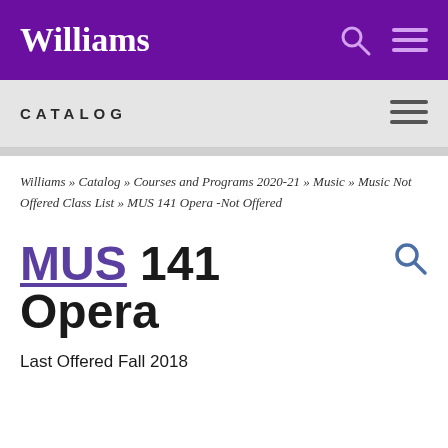Williams
CATALOG
Williams » Catalog » Courses and Programs 2020-21 » Music » Music Not Offered Class List » MUS 141 Opera -Not Offered
MUS 141 Opera
Last Offered Fall 2018